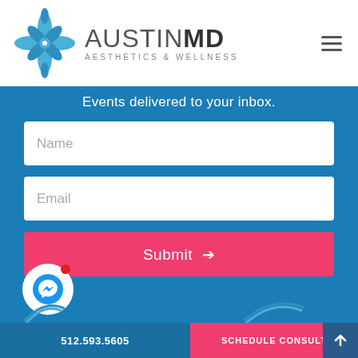[Figure (logo): AustinMD Aesthetics & Wellness logo with decorative blue flower/diamond icon and text]
Events delivered to your inbox.
Name
Email
Submit →
[Figure (illustration): Facebook Messenger chat bubble icon in white circle with red notification dot]
512.593.5605
SCHEDULE CONSULT